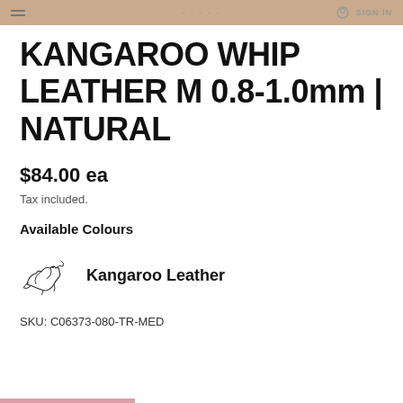SIGN IN
KANGAROO WHIP LEATHER M 0.8-1.0mm | NATURAL
$84.00 ea
Tax included.
Available Colours
[Figure (logo): Kangaroo Leather logo with kangaroo illustration and text]
SKU: C06373-080-TR-MED